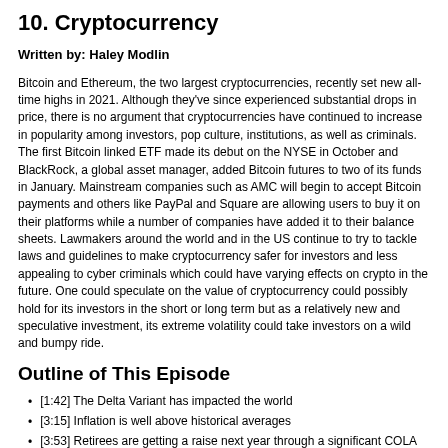10. Cryptocurrency
Written by: Haley Modlin
Bitcoin and Ethereum, the two largest cryptocurrencies, recently set new all-time highs in 2021. Although they've since experienced substantial drops in price, there is no argument that cryptocurrencies have continued to increase in popularity among investors, pop culture, institutions, as well as criminals. The first Bitcoin linked ETF made its debut on the NYSE in October and BlackRock, a global asset manager, added Bitcoin futures to two of its funds in January. Mainstream companies such as AMC will begin to accept Bitcoin payments and others like PayPal and Square are allowing users to buy it on their platforms while a number of companies have added it to their balance sheets. Lawmakers around the world and in the US continue to try to tackle laws and guidelines to make cryptocurrency safer for investors and less appealing to cyber criminals which could have varying effects on crypto in the future. One could speculate on the value of cryptocurrency could possibly hold for its investors in the short or long term but as a relatively new and speculative investment, its extreme volatility could take investors on a wild and bumpy ride.
Outline of This Episode
[1:42] The Delta Variant has impacted the world
[3:15] Inflation is well above historical averages
[3:53] Retirees are getting a raise next year through a significant COLA